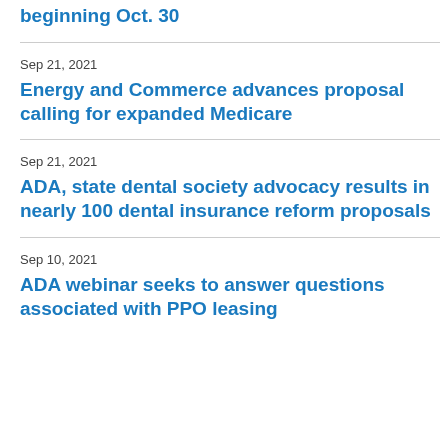beginning Oct. 30
Sep 21, 2021
Energy and Commerce advances proposal calling for expanded Medicare
Sep 21, 2021
ADA, state dental society advocacy results in nearly 100 dental insurance reform proposals
Sep 10, 2021
ADA webinar seeks to answer questions associated with PPO leasing